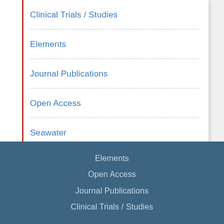Clinical Trials / Studies
Elements
Journal Publications
Open Access
Seawater
Elements
Open Access
Journal Publications
Clinical Trials / Studies